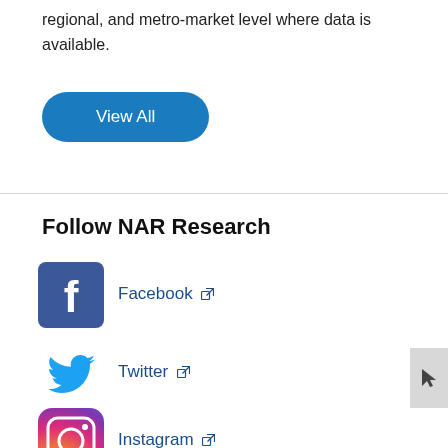regional, and metro-market level where data is available.
[Figure (other): Blue rounded rectangle button labeled 'View All']
Follow NAR Research
[Figure (logo): Facebook logo icon (blue square with white 'f')]
Facebook [external link icon]
[Figure (logo): Twitter logo icon (blue bird)]
Twitter [external link icon]
[Figure (logo): Instagram logo icon (gradient camera)]
Instagram [external link icon]